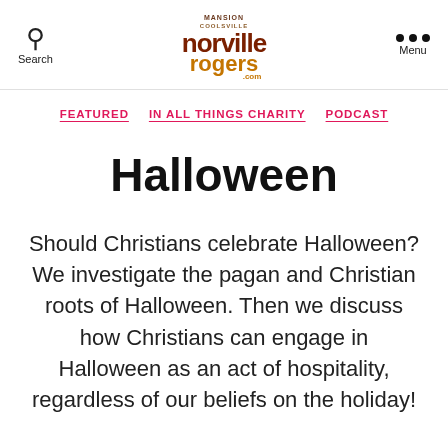Search | Norville Rogers .com | Menu
FEATURED  IN ALL THINGS CHARITY  PODCAST
Halloween
Should Christians celebrate Halloween? We investigate the pagan and Christian roots of Halloween. Then we discuss how Christians can engage in Halloween as an act of hospitality, regardless of our beliefs on the holiday!